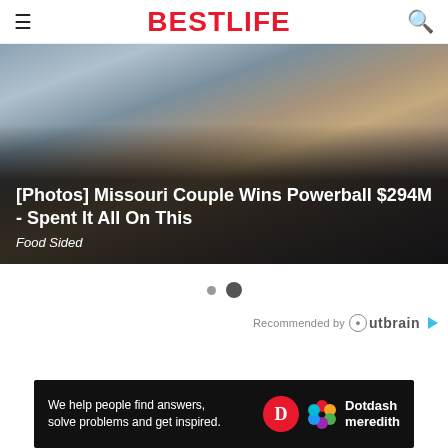BESTLIFE
[Figure (photo): Blonde woman speaking at a microphone, press conference or event setting, with blue chairs visible in background. Image used as article thumbnail.]
[Photos] Missouri Couple Wins Powerball $294M - Spent It All On This
Food Sided
Recommended by Outbrain
[Figure (screenshot): Dotdash Meredith advertisement banner: 'We help people find answers, solve problems and get inspired.' with Dotdash Meredith logo.]